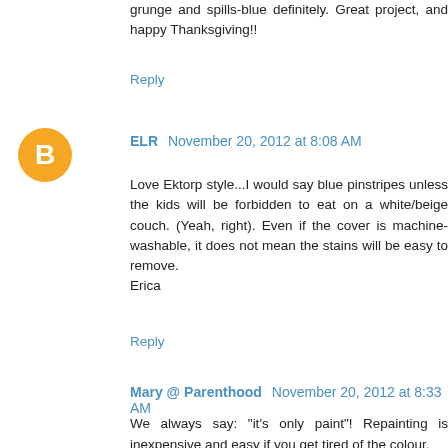grunge and spills-blue definitely. Great project, and happy Thanksgiving!!
Reply
ELR November 20, 2012 at 8:08 AM
Love Ektorp style...I would say blue pinstripes unless the kids will be forbidden to eat on a white/beige couch. (Yeah, right). Even if the cover is machine-washable, it does not mean the stains will be easy to remove.
Erica
Reply
Mary @ Parenthood November 20, 2012 at 8:33 AM
We always say: "it's only paint"! Repainting is inexpensive and easy if you get tired of the colour.

We have a strong yellow in our office, and I love it. Never fails to lift my mood!
Reply